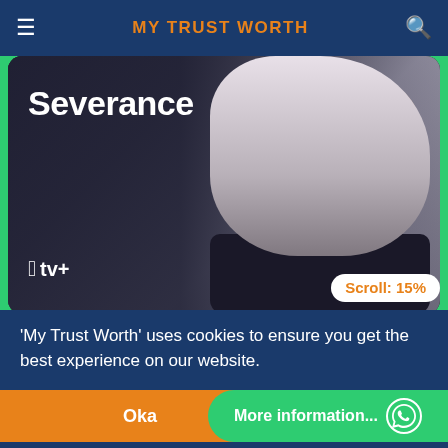MY TRUST WORTH
[Figure (screenshot): Promotional image for Severance TV show on Apple TV+ showing a woman with long grey hair in a dark turtleneck, with the show title 'Severance' displayed prominently]
Severance - ENGLISH
[Figure (photo): Two people (a man and a woman) in a warm-toned scene, partially visible, second show card]
Scroll: 15%
'My Trust Worth' uses cookies to ensure you get the best experience on our website.
Okay
More information...